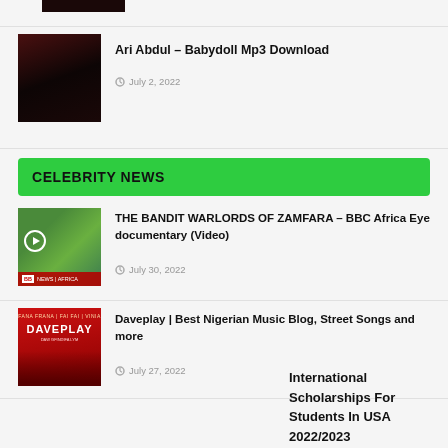[Figure (photo): Cropped top of a thumbnail image, partially visible at top of page]
[Figure (photo): Dark reddish portrait photo of a person for Ari Abdul Babydoll article]
Ari Abdul – Babydoll Mp3 Download
July 2, 2022
CELEBRITY NEWS
[Figure (photo): BBC Africa video thumbnail showing a man in blue shirt outdoors with BBC News Africa overlay and play button]
THE BANDIT WARLORDS OF ZAMFARA – BBC Africa Eye documentary (Video)
July 30, 2022
[Figure (photo): Daveplay red promotional image with logo text DAVEPLAY and figures]
Daveplay | Best Nigerian Music Blog, Street Songs and more
July 27, 2022
International Scholarships For Students In USA 2022/2023